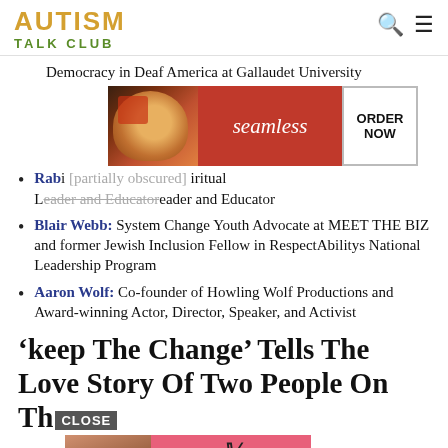AUTISM TALK CLUB
Democracy in Deaf America at Gallaudet University
[Figure (infographic): Seamless food delivery advertisement showing pizza image on left, 'seamless' text in center on red background, and ORDER NOW button on right.]
Rab[bi...]: [Sp]iritual Leader and Educator
Blair Webb: System Change Youth Advocate at MEET THE BIZ and former Jewish Inclusion Fellow in RespectAbilitys National Leadership Program
Aaron Wolf: Co-founder of Howling Wolf Productions and Award-winning Actor, Director, Speaker, and Activist
'keep The Change' Tells The Love Story Of Two People On Th[e Autism Spectrum]
[Figure (infographic): Victoria's Secret advertisement showing woman model on left, VS logo in center with 'SHOP THE COLLECTION' text, and SHOP NOW button on right.]